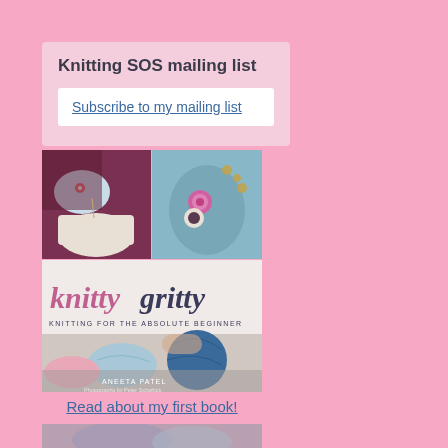Knitting SOS mailing list
Subscribe to my mailing list
[Figure (photo): Book cover of 'knitty gritty: Knitting for the Absolute Beginner' by Aneeta Patel, photographs by Peter Schafrick. Shows knitting-related photos: hands pouring tea with knitted mittens, a knitted animal with rose decoration, yarn balls, and the book title.]
Read about my first book!
[Figure (photo): Partial image at bottom of page, appears to be a close-up knitting scene.]